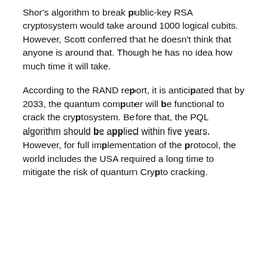Shor's algorithm to break public-key RSA cryptosystem would take around 1000 logical cubits. However, Scott conferred that he doesn't think that anyone is around that. Though he has no idea how much time it will take.
According to the RAND report, it is anticipated that by 2033, the quantum computer will be functional to crack the cryptosystem. Before that, the PQL algorithm should be applied within five years. However, for full implementation of the protocol, the world includes the USA required a long time to mitigate the risk of quantum Crypto cracking.